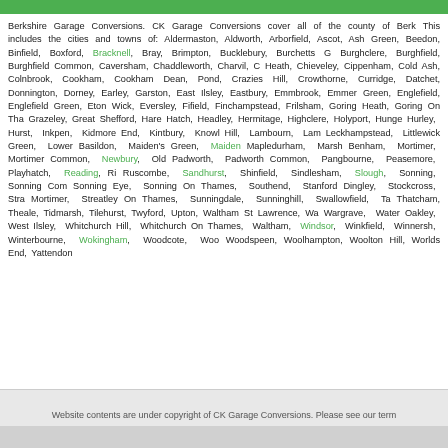Berkshire Garage Conversions. CK Garage Conversions cover all of the county of Berkshire. This includes the cities and towns of: Aldermaston, Aldworth, Arborfield, Ascot, Ash Green, Beedon, Binfield, Boxford, Bracknell, Bray, Brimpton, Bucklebury, Burchetts Green, Burghclere, Burghfield, Burghfield Common, Caversham, Chaddleworth, Charvil, Chicken Heath, Chieveley, Cippenham, Cold Ash, Colnbrook, Cookham, Cookham Dean, Cookham Pond, Crazies Hill, Crowthorne, Curridge, Datchet, Donnington, Dorney, Earley, East Garston, East Ilsley, Eastbury, Emmbrook, Emmer Green, Englefield, Englefield Green, Eton, Eton Wick, Eversley, Fifield, Finchampstead, Frilsham, Goring Heath, Goring On Thames, Grazeley, Great Shefford, Hare Hatch, Headley, Hermitage, Highclere, Holyport, Hungerford, Hurley, Hurst, Inkpen, Kidmore End, Kintbury, Knowl Hill, Lambourn, Lambourn, Leckhampstead, Littlewick Green, Lower Basildon, Maiden's Green, Maidenhead, Mapledurham, Marsh Benham, Mortimer, Mortimer Common, Newbury, Old Windsor, Padworth, Padworth Common, Pangbourne, Peasemore, Playhatch, Reading, Ruscombe, Sandhurst, Shinfield, Sindlesham, Slough, Sonning, Sonning Common, Sonning Eye, Sonning On Thames, Southend, Stanford Dingley, Stockcross, Streatley, Mortimer, Streatley On Thames, Sunningdale, Sunninghill, Swallowfield, Taplow, Thatcham, Theale, Tidmarsh, Tilehurst, Twyford, Upton, Waltham St Lawrence, Warfield, Wargrave, Water Oakley, West Ilsley, Whitchurch Hill, Whitchurch On Thames, White Waltham, Windsor, Winkfield, Winnersh, Winterbourne, Wokingham, Woodcote, Woodley, Woodspeen, Woolhampton, Woolton Hill, Worlds End, Yattendon
Website contents are under copyright of CK Garage Conversions. Please see our terms